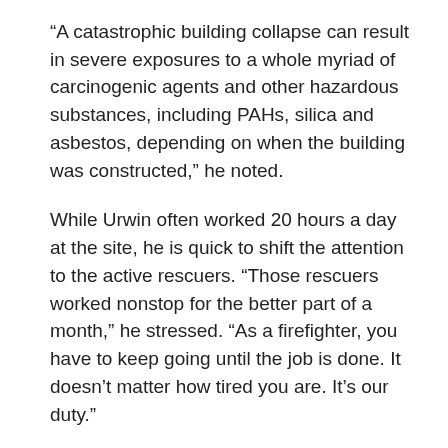“A catastrophic building collapse can result in severe exposures to a whole myriad of carcinogenic agents and other hazardous substances, including PAHs, silica and asbestos, depending on when the building was constructed,” he noted.
While Urwin often worked 20 hours a day at the site, he is quick to shift the attention to the active rescuers. “Those rescuers worked nonstop for the better part of a month,” he stressed. “As a firefighter, you have to keep going until the job is done. It doesn’t matter how tired you are. It’s our duty.”
‘Never a bad day’ at UCLA
Fighting fires has at times seemed less stressful than his doctoral work, Urwin joked. “I told my doctoral